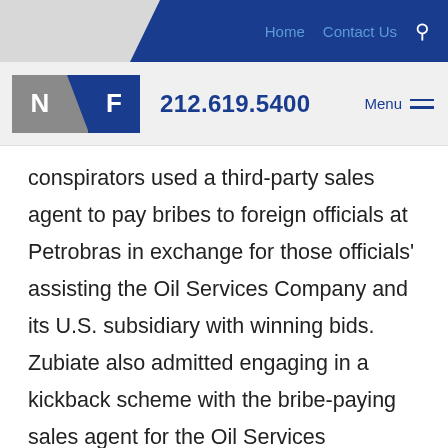Home   Contact Us   🔍
NF   212.619.5400   Menu
conspirators used a third-party sales agent to pay bribes to foreign officials at Petrobras in exchange for those officials' assisting the Oil Services Company and its U.S. subsidiary with winning bids. Zubiate also admitted engaging in a kickback scheme with the bribe-paying sales agent for the Oil Services Company and its U.S. subsidiary.